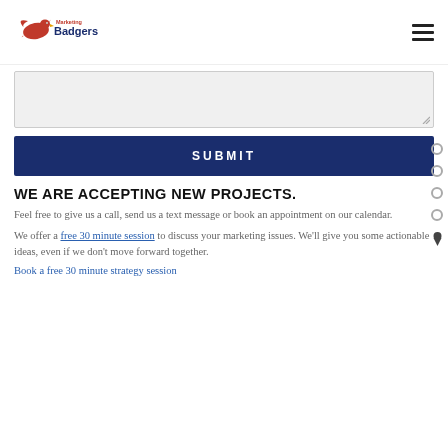[Figure (logo): Marketing Badgers logo with red eagle/hawk and text 'Marketing Badgers']
[textarea input field]
SUBMIT
WE ARE ACCEPTING NEW PROJECTS.
Feel free to give us a call, send us a text message or book an appointment on our calendar.
We offer a free 30 minute session to discuss your marketing issues. We'll give you some actionable ideas, even if we don't move forward together.
Book a free 30 minute strategy session